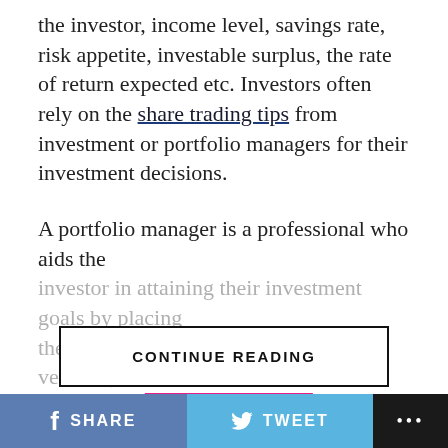the investor, income level, savings rate, risk appetite, investable surplus, the rate of return expected etc. Investors often rely on the share trading tips from investment or portfolio managers for their investment decisions.
A portfolio manager is a professional who aids the investor in attaining their investment goals by placing their funds in appropriate investment vehicles, based on the...
[Figure (other): CONTINUE READING button]
[Figure (infographic): FACEBOOK section divider badge in pink/magenta]
[Figure (infographic): TRENDING section divider badge in pink/magenta]
SHARE   TWEET   ...